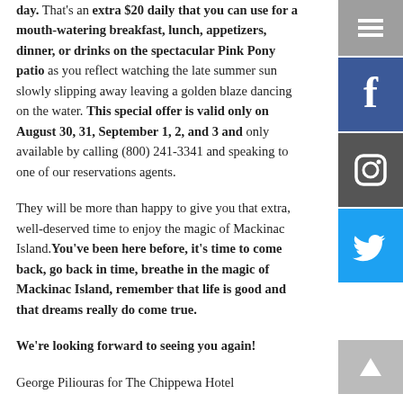day. That's an extra $20 daily that you can use for a mouth-watering breakfast, lunch, appetizers, dinner, or drinks on the spectacular Pink Pony patio as you reflect watching the late summer sun slowly slipping away leaving a golden blaze dancing on the water. This special offer is valid only on August 30, 31, September 1, 2, and 3 and only available by calling (800) 241-3341 and speaking to one of our reservations agents.
They will be more than happy to give you that extra, well-deserved time to enjoy the magic of Mackinac Island. You've been here before, it's time to come back, go back in time, breathe in the magic of Mackinac Island, remember that life is good and that dreams really do come true.
We're looking forward to seeing you again!
George Piliouras for The Chippewa Hotel